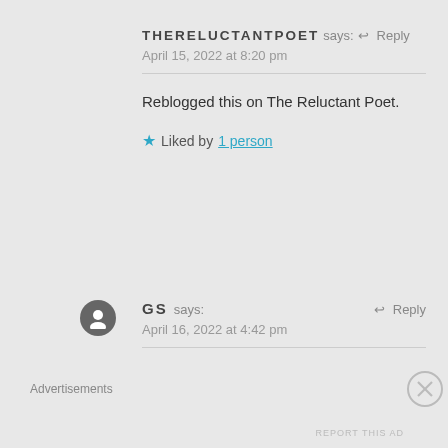THERELUCTANTPOET says: ↩ Reply
April 15, 2022 at 8:20 pm
Reblogged this on The Reluctant Poet.
★ Liked by 1 person
GS says: ↩ Reply
April 16, 2022 at 4:42 pm
Advertisements